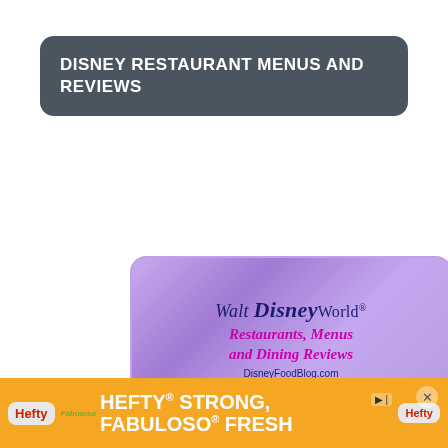DISNEY RESTAURANT MENUS AND REVIEWS
[Figure (logo): Walt Disney World Restaurants, Menus and Dining Reviews - DisneyFoodBlog.com logo on purple gradient background]
[Figure (logo): Disneyland logo on light blue gradient background]